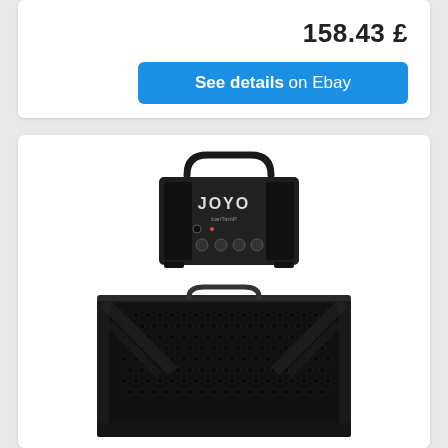158.43 £
See details on Ebay
[Figure (photo): JOYO guitar amplifier head unit stacked on top of a large black speaker cabinet. The amp head is small with JOYO branding visible and multiple control knobs. The speaker cabinet has a hexagonal grille pattern and is significantly larger than the head unit.]